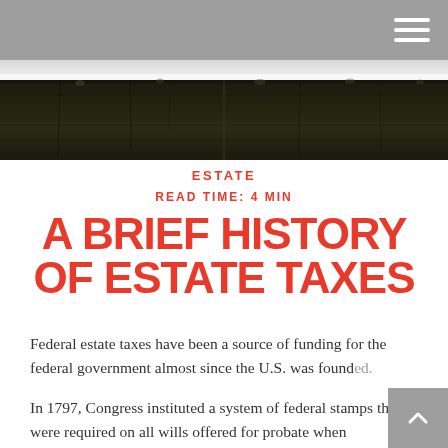[Figure (photo): Dark close-up photo of what appears to be a stone or metal wall/surface texture, taken at an angle]
ESTATE
READ TIME: 4 MIN
A BRIEF HISTORY OF ESTATE TAXES
Federal estate taxes have been a source of funding for the federal government almost since the U.S. was founded.
In 1797, Congress instituted a system of federal stamps that were required on all wills offered for probate when